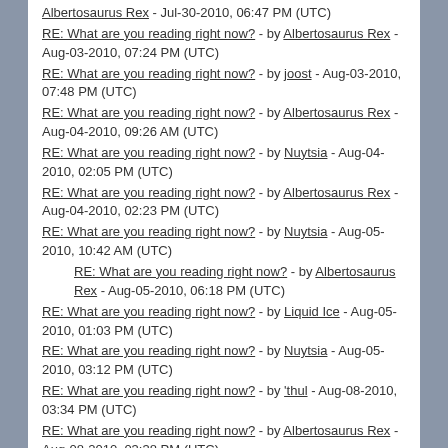Albertosaurus Rex - Jul-30-2010, 06:47 PM (UTC)
RE: What are you reading right now? - by Albertosaurus Rex - Aug-03-2010, 07:24 PM (UTC)
RE: What are you reading right now? - by joost - Aug-03-2010, 07:48 PM (UTC)
RE: What are you reading right now? - by Albertosaurus Rex - Aug-04-2010, 09:26 AM (UTC)
RE: What are you reading right now? - by Nuytsia - Aug-04-2010, 02:05 PM (UTC)
RE: What are you reading right now? - by Albertosaurus Rex - Aug-04-2010, 02:23 PM (UTC)
RE: What are you reading right now? - by Nuytsia - Aug-05-2010, 10:42 AM (UTC)
RE: What are you reading right now? - by Albertosaurus Rex - Aug-05-2010, 06:18 PM (UTC)
RE: What are you reading right now? - by Liquid Ice - Aug-05-2010, 01:03 PM (UTC)
RE: What are you reading right now? - by Nuytsia - Aug-05-2010, 03:12 PM (UTC)
RE: What are you reading right now? - by 'thul - Aug-08-2010, 03:34 PM (UTC)
RE: What are you reading right now? - by Albertosaurus Rex - Aug-08-2010, 03:38 PM (UTC)